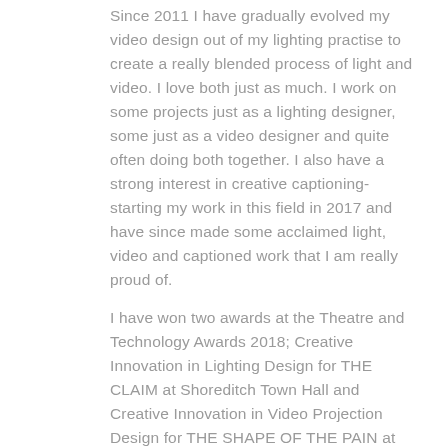Since 2011 I have gradually evolved my video design out of my lighting practise to create a really blended process of light and video. I love both just as much. I work on some projects just as a lighting designer, some just as a video designer and quite often doing both together. I also have a strong interest in creative captioning- starting my work in this field in 2017 and have since made some acclaimed light, video and captioned work that I am really proud of.
I have won two awards at the Theatre and Technology Awards 2018; Creative Innovation in Lighting Design for THE CLAIM at Shoreditch Town Hall and Creative Innovation in Video Projection Design for THE SHAPE OF THE PAIN at Battersea Arts Centre. I was also shortlisted for a Knight of Illumination award for my work on THE SHAPE OF THE